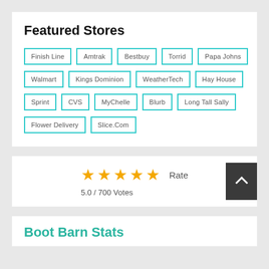Featured Stores
Finish Line
Amtrak
Bestbuy
Torrid
Papa Johns
Walmart
Kings Dominion
WeatherTech
Hay House
Sprint
CVS
MyChelle
Blurb
Long Tall Sally
Flower Delivery
Slice.Com
★★★★★ Rate
5.0 / 700 Votes
Boot Barn Stats